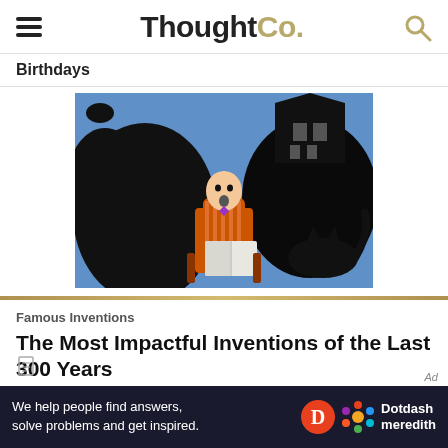ThoughtCo.
Birthdays
[Figure (illustration): Vintage illustration on blue background showing a person sitting in a chair reading a book, surrounded by large dark ghost/monster silhouettes and a haunted house]
Famous Inventions
The Most Impactful Inventions of the Last 300 Years
We help people find answers, solve problems and get inspired. Dotdash meredith